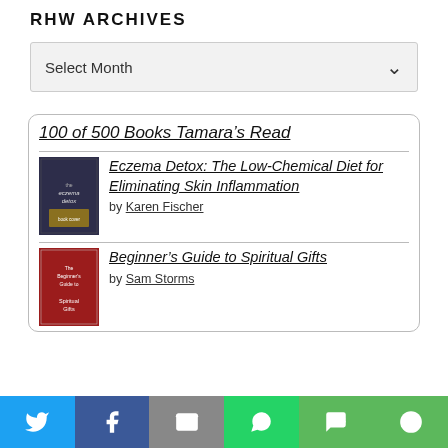RHW ARCHIVES
Select Month
[Figure (other): Widget card showing '100 of 500 Books Tamara's Read' with book listings]
100 of 500 Books Tamara's Read
Eczema Detox: The Low-Chemical Diet for Eliminating Skin Inflammation
by Karen Fischer
Beginner's Guide to Spiritual Gifts
by Sam Storms
Twitter | Facebook | Email | WhatsApp | SMS | More